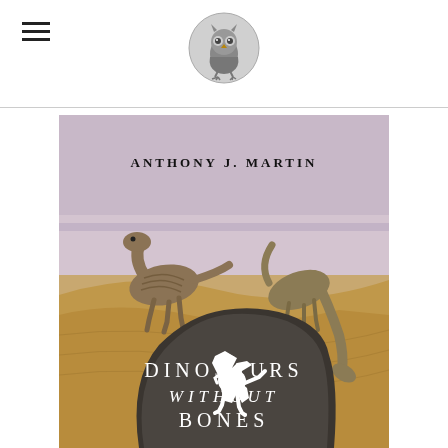Header with hamburger menu and owl logo
[Figure (photo): Book cover of 'Dinosaurs Without Bones' by Anthony J. Martin. Shows two dinosaurs on a sandy beach with a large dark rock in the foreground bearing a white dinosaur silhouette logo and the book title text 'DINOSAURS WITHOUT BONES' in spaced letters.]